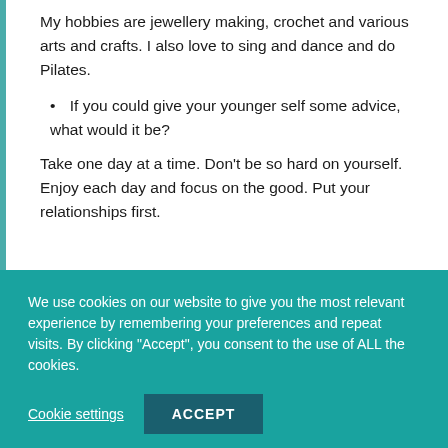My hobbies are jewellery making, crochet and various arts and crafts. I also love to sing and dance and do Pilates.
If you could give your younger self some advice, what would it be?
Take one day at a time. Don't be so hard on yourself. Enjoy each day and focus on the good. Put your relationships first.
We use cookies on our website to give you the most relevant experience by remembering your preferences and repeat visits. By clicking "Accept", you consent to the use of ALL the cookies.
Cookie settings
ACCEPT